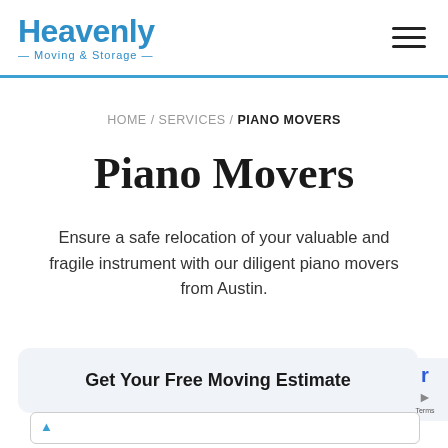Heavenly Moving & Storage
HOME / SERVICES / PIANO MOVERS
Piano Movers
Ensure a safe relocation of your valuable and fragile instrument with our diligent piano movers from Austin.
Get Your Free Moving Estimate